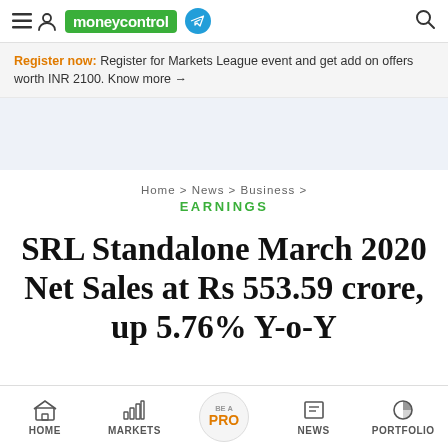moneycontrol
Register now: Register for Markets League event and get add on offers worth INR 2100. Know more →
Home > News > Business > EARNINGS
SRL Standalone March 2020 Net Sales at Rs 553.59 crore, up 5.76% Y-o-Y
HOME  MARKETS  BE A PRO  NEWS  PORTFOLIO